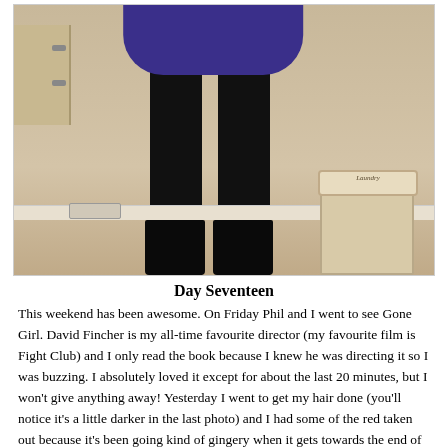[Figure (photo): Photo of a person from waist down wearing a purple/navy skirt, black tights, and black ankle boots, standing in a bedroom with a wicker laundry basket and chest of drawers visible in the background.]
Day Seventeen
This weekend has been awesome. On Friday Phil and I went to see Gone Girl. David Fincher is my all-time favourite director (my favourite film is Fight Club) and I only read the book because I knew he was directing it so I was buzzing. I absolutely loved it except for about the last 20 minutes, but I won't give anything away! Yesterday I went to get my hair done (you'll notice it's a little darker in the last photo) and I had some of the red taken out because it's been going kind of gingery when it gets towards the end of the